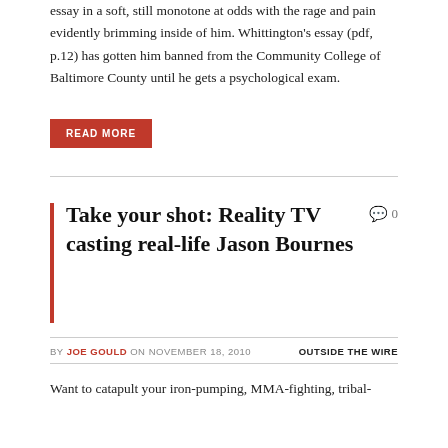essay in a soft, still monotone at odds with the rage and pain evidently brimming inside of him. Whittington's essay (pdf, p.12) has gotten him banned from the Community College of Baltimore County until he gets a psychological exam.
READ MORE
Take your shot: Reality TV casting real-life Jason Bournes
0
BY JOE GOULD ON NOVEMBER 18, 2010   OUTSIDE THE WIRE
Want to catapult your iron-pumping, MMA-fighting, tribal-